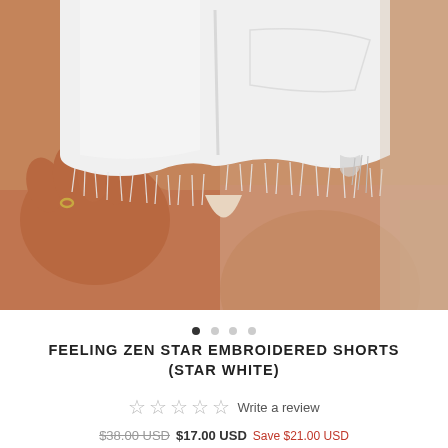[Figure (photo): Close-up photo of a woman wearing white frayed denim cut-off shorts, with her hand resting on her thigh. The image shows tanned legs and the lower portion of white shorts with a frayed hem.]
FEELING ZEN STAR EMBROIDERED SHORTS (STAR WHITE)
☆ ☆ ☆ ☆ ☆ Write a review
$38.00 USD  $17.00 USD  Save $21.00 USD